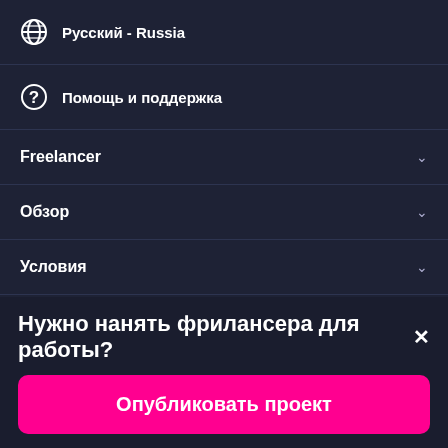Русский - Russia
Помощь и поддержка
Freelancer
Обзор
Условия
[Figure (screenshot): Two app store download buttons: 'Available on the' (Apple App Store) and 'GET IT ON' (Google Play)]
Нужно нанять фрилансера для работы?
Опубликовать проект